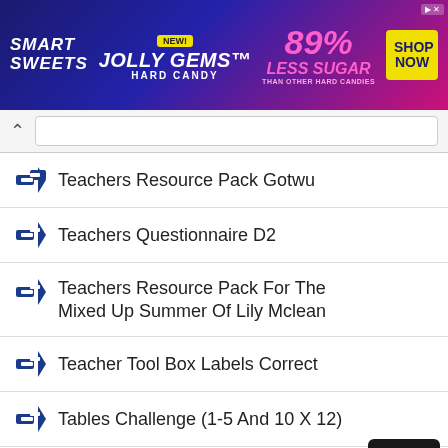[Figure (other): Smart Sweets Jolly Gems Hard Candy advertisement banner. 89% Less Sugar than other hard candies. Shop Now button.]
Teachers Resource Pack Gotwu
Teachers Questionnaire D2
Teachers Resource Pack For The Mixed Up Summer Of Lily Mclean
Teacher Tool Box Labels Correct
Tables Challenge (1-5 And 10 X 12)
T And U Homework